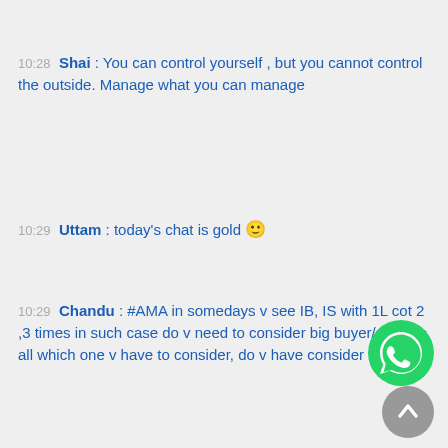10:28 Shai : You can control yourself , but you cannot control the outside. Manage what you can manage
10:29 Uttam : today's chat is gold 🙂
10:29 Chandu : #AMA in somedays v see IB, IS with 1L cot 2 ,3 times in such case do v need to consider big buyer/seller in all which one v have to consider, do v have consider all r ?
10:29 Shai : extension handle is a move away from IB which is 1st 60 mins of trade. Has to be confirmed with huge volumes- (10:25) Sylvester: #AMA Shai I have heard the terms "Extension Handle" and 80% rule. I am not able to find references to them in training library. What do they
[Figure (logo): WhatsApp logo icon (green circle with phone handset)]
[Figure (other): Scroll-to-bottom button (grey circle with upward arrow)]